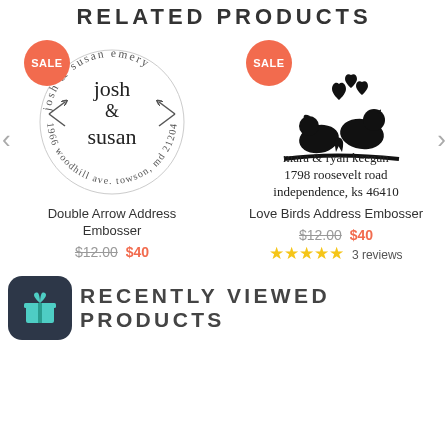RELATED PRODUCTS
[Figure (illustration): Double Arrow Address Embosser stamp design in a circle with 'josh & susan emery' around the border, '1966 woodhill ave. towson, md 21204' around the bottom, and 'josh & susan' in the center with arrow decorations. Orange SALE badge in top left.]
[Figure (illustration): Love Birds Address Embosser stamp design showing two birds on a branch with hearts, and address text 'mara & ryan keegan 1798 roosevelt road independence, ks 46410'. Orange SALE badge in top left.]
Double Arrow Address Embosser
$12.00 $40
Love Birds Address Embosser
$12.00 $40
3 reviews
RECENTLY VIEWED PRODUCTS